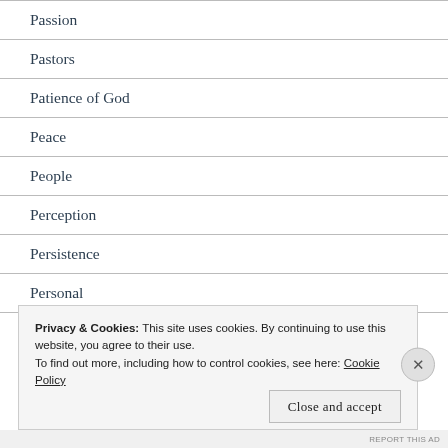Passion
Pastors
Patience of God
Peace
People
Perception
Persistence
Personal
Privacy & Cookies: This site uses cookies. By continuing to use this website, you agree to their use.
To find out more, including how to control cookies, see here: Cookie Policy
Close and accept